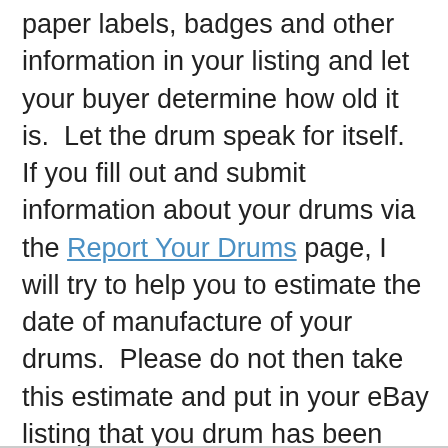paper labels, badges and other information in your listing and let your buyer determine how old it is.  Let the drum speak for itself.  If you fill out and submit information about your drums via the Report Your Drums page, I will try to help you to estimate the date of manufacture of your drums.  Please do not then take this estimate and put in your eBay listing that you drum has been "evaluated by Gretsch expert Richard Gier" and he determined the exact moment your drum was made.  Finally, I strongly recommend both www.drumforum.org and www.vintagedrumforum.com as great sites to learn about vintage drums.  They both are actively supported by great people who are happy to share what they know.  Spend some time searching their old posts - you will probably get your questions answered with a little work on your part.